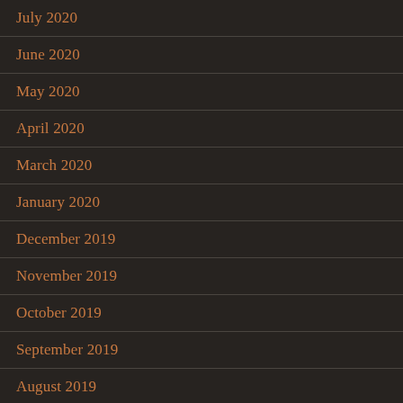July 2020
June 2020
May 2020
April 2020
March 2020
January 2020
December 2019
November 2019
October 2019
September 2019
August 2019
July 2019